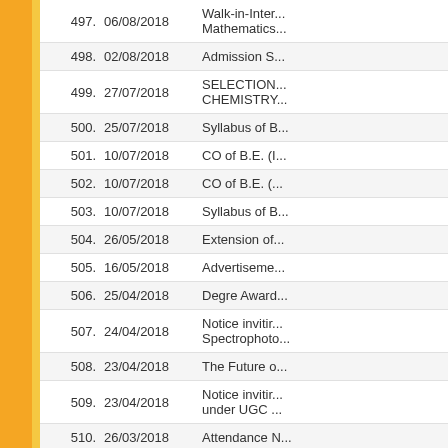| No. | Date | Title |
| --- | --- | --- |
| 497. | 06/08/2018 | Walk-in-Inter... Mathematics... |
| 498. | 02/08/2018 | Admission S... |
| 499. | 27/07/2018 | SELECTION... CHEMISTRY... |
| 500. | 25/07/2018 | Syllabus of B... |
| 501. | 10/07/2018 | CO of B.E. (I... |
| 502. | 10/07/2018 | CO of B.E. (... |
| 503. | 10/07/2018 | Syllabus of B... |
| 504. | 26/05/2018 | Extension of... |
| 505. | 16/05/2018 | Advertiseme... |
| 506. | 25/04/2018 | Degre Award... |
| 507. | 24/04/2018 | Notice invitir... Spectrophoto... |
| 508. | 23/04/2018 | The Future o... |
| 509. | 23/04/2018 | Notice invitir... under UGC ... |
| 510. | 26/03/2018 | Attendance N... |
| 511. | 28/02/2018 | Invitation of ... |